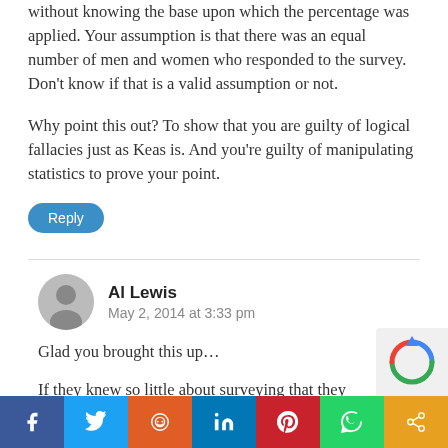without knowing the base upon which the percentage was applied. Your assumption is that there was an equal number of men and women who responded to the survey. Don't know if that is a valid assumption or not.
Why point this out? To show that you are guilty of logical fallacies just as Keas is. And you're guilty of manipulating statistics to prove your point.
Reply
Al Lewis
May 2, 2014 at 3:33 pm
Glad you brought this up…
If they knew so little about surveying that they